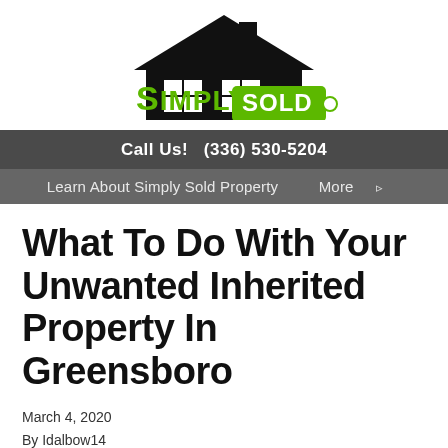[Figure (logo): Simply Sold Property logo — black house silhouette with white windows, green 'Simply' text and green price-tag shape with white 'SOLD' text, tagline: Cash offer in minutes with a guaranteed hassle free closing]
Call Us!   (336) 530-5204
Learn About Simply Sold Property    More ▸
What To Do With Your Unwanted Inherited Property In Greensboro
March 4, 2020
By Idalbow14